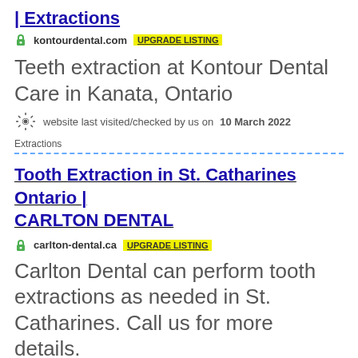| Extractions
kontourdental.com  UPGRADE LISTING
Teeth extraction at Kontour Dental Care in Kanata, Ontario
website last visited/checked by us on 10 March 2022
Extractions
Tooth Extraction in St. Catharines Ontario | CARLTON DENTAL
carlton-dental.ca  UPGRADE LISTING
Carlton Dental can perform tooth extractions as needed in St. Catharines. Call us for more details.